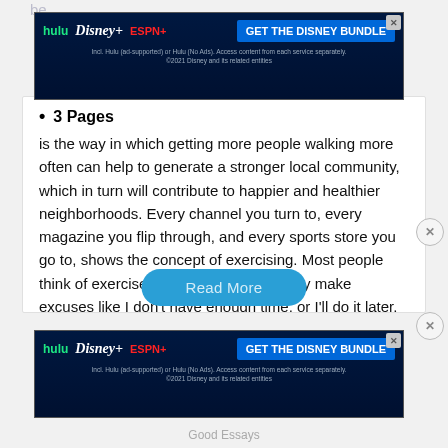[Figure (screenshot): Disney Bundle advertisement banner at top: Hulu, Disney+, ESPN+ logos with 'GET THE DISNEY BUNDLE' CTA button on blue background. Dark blue gradient background. Subtext: 'Incl. Hulu (ad-supported) or Hulu (No Ads). Access content from each service separately. ©2021 Disney and its related entities']
3 Pages
is the way in which getting more people walking more often can help to generate a stronger local community, which in turn will contribute to happier and healthier neighborhoods. Every channel you turn to, every magazine you flip through, and every sports store you go to, shows the concept of exercising. Most people think of exercise as too much work. They make excuses like I don't have enough time, or I'll do it later. The purpose of this essay is to persuade my listeners to get out their walking…
[Figure (screenshot): Disney Bundle advertisement banner at bottom: Hulu, Disney+, ESPN+ logos with 'GET THE DISNEY BUNDLE' CTA button on blue background. Dark blue gradient background. Subtext: 'Incl. Hulu (ad-supported) or Hulu (No Ads). Access content from each service separately. ©2021 Disney and its related entities']
Good Essays